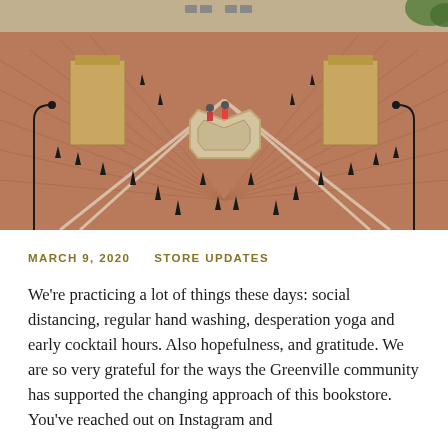[Figure (photo): Aerial view of an empty brick plaza with a central octagonal fountain/feature, decorative columns on either side, traffic cones scattered around, and a few cyclists visible. The plaza has a chevron brick pattern and appears largely deserted.]
MARCH 9, 2020    STORE UPDATES
We’re practicing a lot of things these days: social distancing, regular hand washing, desperation yoga and early cocktail hours. Also hopefulness, and gratitude. We are so very grateful for the ways the Greenville community has supported the changing approach of this bookstore. You’ve reached out on Instagram and